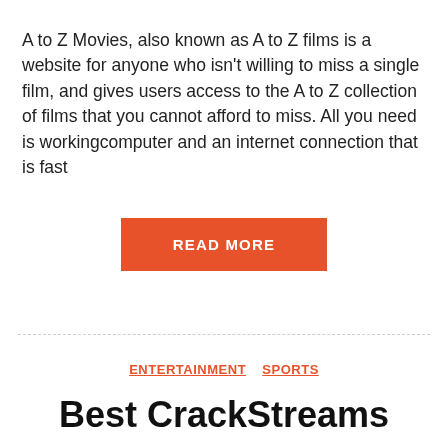A to Z Movies, also known as A to Z films is a website for anyone who isn't willing to miss a single film, and gives users access to the A to Z collection of films that you cannot afford to miss. All you need is workingcomputer and an internet connection that is fast
READ MORE
ENTERTAINMENT   SPORTS
Best CrackStreams